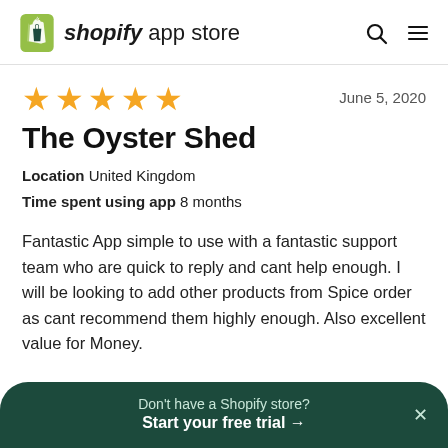shopify app store
★★★★★   June 5, 2020
The Oyster Shed
Location  United Kingdom
Time spent using app  8 months
Fantastic App simple to use with a fantastic support team who are quick to reply and cant help enough. I will be looking to add other products from Spice order as cant recommend them highly enough. Also excellent value for Money.
Don't have a Shopify store? Start your free trial →